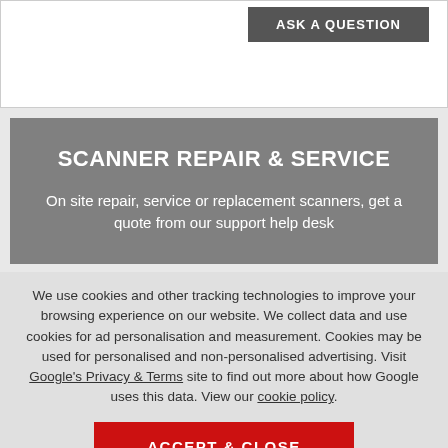[Figure (screenshot): Top portion of a webpage showing an 'ASK A QUESTION' button on a dark grey background, within a white content card area.]
SCANNER REPAIR & SERVICE
On site repair, service or replacement scanners, get a quote from our support help desk
We use cookies and other tracking technologies to improve your browsing experience on our website. We collect data and use cookies for ad personalisation and measurement. Cookies may be used for personalised and non-personalised advertising. Visit Google's Privacy & Terms site to find out more about how Google uses this data. View our cookie policy.
ACCEPT & CLOSE